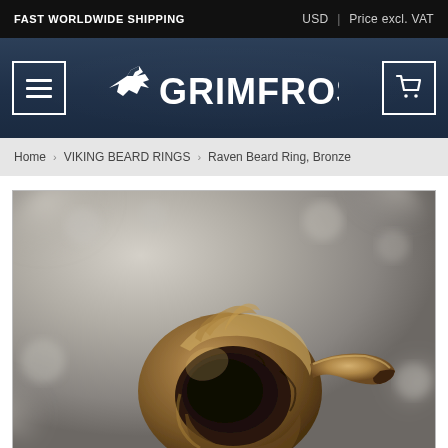FAST WORLDWIDE SHIPPING | USD | Price excl. VAT
[Figure (logo): Grimfrost Viking store logo with wolf/fox icon and GRIMFROST wordmark in white on dark blue navigation bar, with hamburger menu button on left and cart button on right]
Home › VIKING BEARD RINGS › Raven Beard Ring, Bronze
[Figure (photo): Close-up photograph of a bronze Raven Beard Ring shaped like a raven skull, with detailed beak and eye socket visible, set against a blurred lichen or moss background in muted grey-green tones]